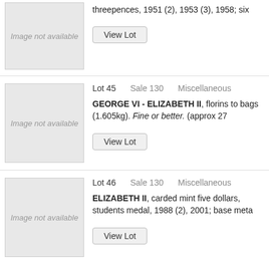[Figure (photo): Image not available placeholder box]
threepences, 1951 (2), 1953 (3), 1958; six
View Lot
Lot 45   Sale 130   Miscellaneous
[Figure (photo): Image not available placeholder box]
GEORGE VI - ELIZABETH II, florins to bags (1.605kg). Fine or better. (approx 27
View Lot
Lot 46   Sale 130   Miscellaneous
[Figure (photo): Image not available placeholder box]
ELIZABETH II, carded mint five dollars, students medal, 1988 (2), 2001; base meta
View Lot